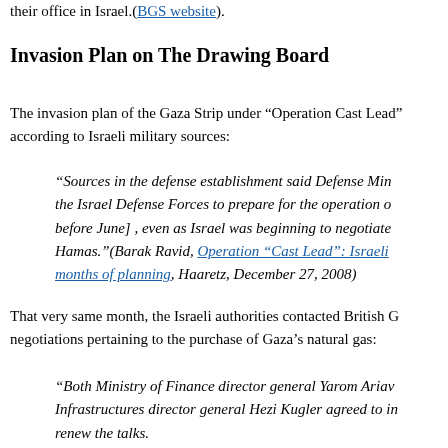their office in Israel.(BGS website).
Invasion Plan on The Drawing Board
The invasion plan of the Gaza Strip under “Operation Cast Lead” according to Israeli military sources:
“Sources in the defense establishment said Defense Minister ordered the Israel Defense Forces to prepare for the operation over six months [before June] , even as Israel was beginning to negotiate a ceasefire with Hamas.”(Barak Ravid, Operation “Cast Lead”: Israeli offensive began months of planning, Haaretz, December 27, 2008)
That very same month, the Israeli authorities contacted British Gas over negotiations pertaining to the purchase of Gaza’s natural gas:
“Both Ministry of Finance director general Yarom Ariav and National Infrastructures director general Hezi Kugler agreed to in principle renew the talks.